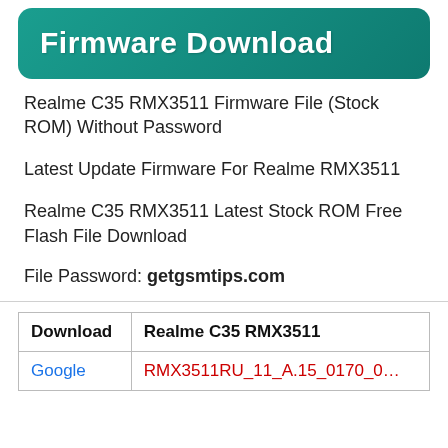Firmware Download
Realme C35 RMX3511 Firmware File (Stock ROM) Without Password
Latest Update Firmware For Realme RMX3511
Realme C35 RMX3511 Latest Stock ROM Free Flash File Download
File Password: getgsmtips.com
| Download | Realme C35 RMX3511 |
| --- | --- |
| Google | RMX3511RU_11_A.15_0170_0… |